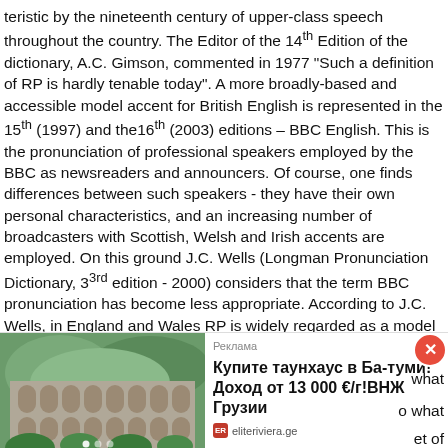teristic by the nineteenth century of upper-class speech throughout the country. The Editor of the 14th Edition of the dictionary, A.C. Gimson, commented in 1977 "Such a definition of RP is hardly tenable today". A more broadly-based and accessible model accent for British English is represented in the 15th (1997) and the16th (2003) editions – BBC English. This is the pronunciation of professional speakers employed by the BBC as newsreaders and announcers. Of course, one finds differences between such speakers - they have their own personal characteristics, and an increasing number of broadcasters with Scottish, Welsh and Irish accents are employed. On this ground J.C. Wells (Longman Pronunciation Dictionary, 3 3rd edition - 2000) considers that the term BBC pronunciation has become less appropriate. According to J.C. Wells, in England and Wales RP is widely regarded as a model for correct pronunciation, particularly for educated formal
[Figure (photo): Advertisement banner showing a modern building with arched windows surrounded by greenery and mountains, advertising real estate in Batumi, Georgia (Купите таунхаус в Батуми! Доход от 13 000 €/г!ВНЖ Грузии) from eliteriviera.ge]